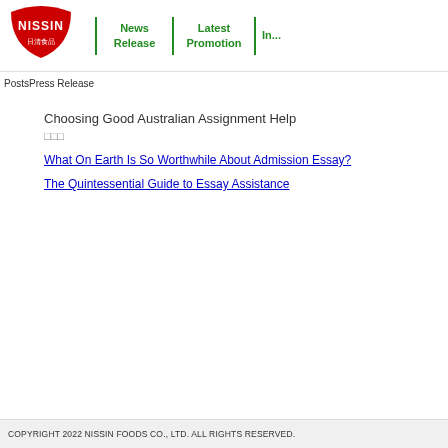[Figure (logo): Nissin Foods logo — red bowl shape with white NISSIN text and Japanese characters 日清食品]
News Release | Latest Promotion | In...
PostsPress Release
Choosing Good Australian Assignment Help
□□□
What On Earth Is So Worthwhile About Admission Essay?
The Quintessential Guide to Essay Assistance
COPYRIGHT 2022 NISSIN FOODS CO., LTD. ALL RIGHTS RESERVED.